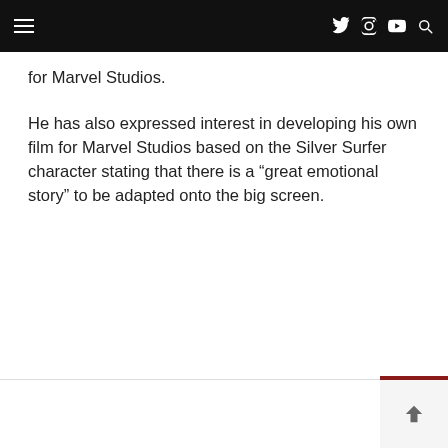for Marvel Studios.
He has also expressed interest in developing his own film for Marvel Studios based on the Silver Surfer character stating that there is a “great emotional story” to be adapted onto the big screen.